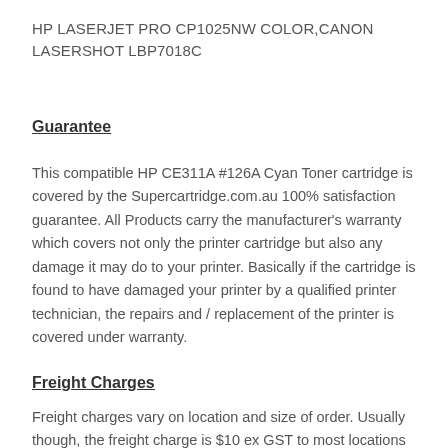HP LASERJET PRO CP1025NW COLOR,CANON LASERSHOT LBP7018C
Guarantee
This compatible HP CE311A #126A Cyan Toner cartridge is covered by the Supercartridge.com.au 100% satisfaction guarantee. All Products carry the manufacturer's warranty which covers not only the printer cartridge but also any damage it may do to your printer. Basically if the cartridge is found to have damaged your printer by a qualified printer technician, the repairs and / replacement of the printer is covered under warranty.
Freight Charges
Freight charges vary on location and size of order. Usually though, the freight charge is $10 ex GST to most locations in Australia.